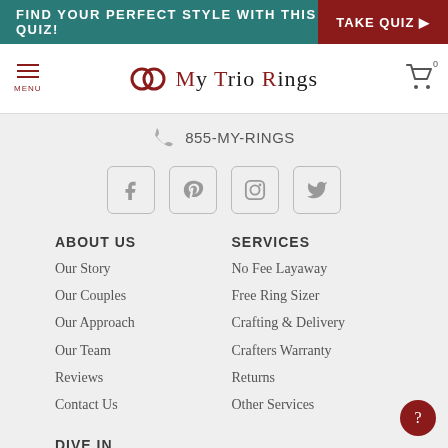FIND YOUR PERFECT STYLE WITH THIS QUIZ! TAKE QUIZ ▶
[Figure (logo): My Trio Rings logo with two interlocked rings icon and cart icon]
855-MY-RINGS
[Figure (infographic): Social media icons: Facebook, Pinterest, Instagram, Twitter]
ABOUT US
Our Story
Our Couples
Our Approach
Our Team
Reviews
Contact Us
SERVICES
No Fee Layaway
Free Ring Sizer
Crafting & Delivery
Crafters Warranty
Returns
Other Services
DIVE IN
Search